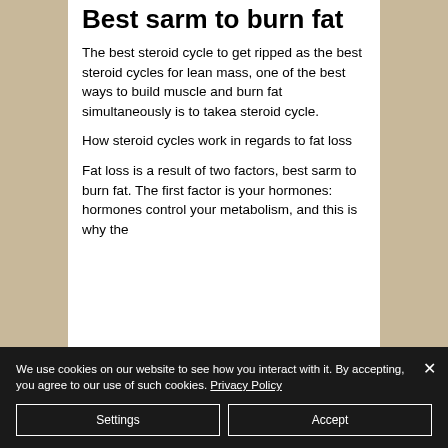Best sarm to burn fat
The best steroid cycle to get ripped as the best steroid cycles for lean mass, one of the best ways to build muscle and burn fat simultaneously is to takea steroid cycle.
How steroid cycles work in regards to fat loss
Fat loss is a result of two factors, best sarm to burn fat. The first factor is your hormones: hormones control your metabolism, and this is why the
We use cookies on our website to see how you interact with it. By accepting, you agree to our use of such cookies. Privacy Policy
Settings
Accept